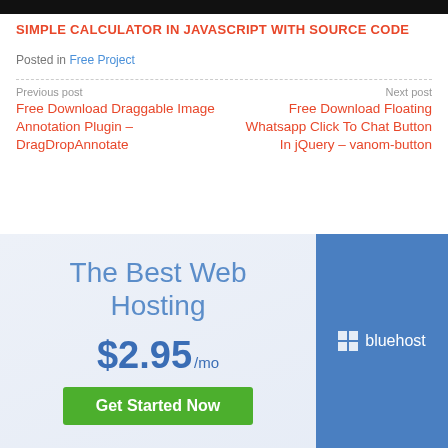SIMPLE CALCULATOR IN JAVASCRIPT WITH SOURCE CODE
Posted in Free Project
Previous post
Free Download Draggable Image Annotation Plugin – DragDropAnnotate
Next post
Free Download Floating Whatsapp Click To Chat Button In jQuery – vanom-button
[Figure (infographic): Bluehost web hosting advertisement banner showing 'The Best Web Hosting' at $2.95/mo with a green 'Get Started Now' button and the Bluehost logo on a blue panel on the right.]